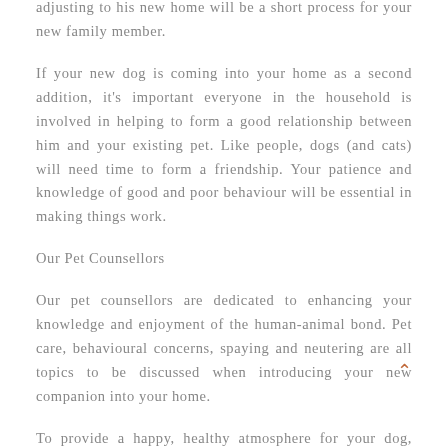adjusting to his new home will be a short process for your new family member.
If your new dog is coming into your home as a second addition, it's important everyone in the household is involved in helping to form a good relationship between him and your existing pet. Like people, dogs (and cats) will need time to form a friendship. Your patience and knowledge of good and poor behaviour will be essential in making things work.
Our Pet Counsellors
Our pet counsellors are dedicated to enhancing your knowledge and enjoyment of the human-animal bond. Pet care, behavioural concerns, spaying and neutering are all topics to be discussed when introducing your new companion into your home.
To provide a happy, healthy atmosphere for your dog, Petland recommends the following necessary and fun